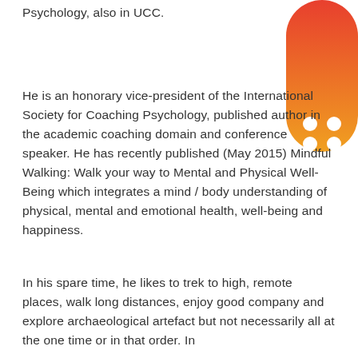Psychology, also in UCC.
[Figure (logo): Orange to red gradient rounded rectangle badge with four white dots arranged in a 2x2 grid pattern]
He is an honorary vice-president of the International Society for Coaching Psychology, published author in the academic coaching domain and conference speaker. He has recently published (May 2015) Mindful Walking: Walk your way to Mental and Physical Well-Being which integrates a mind / body understanding of physical, mental and emotional health, well-being and happiness.
In his spare time, he likes to trek to high, remote places, walk long distances, enjoy good company and explore archaeological artefact but not necessarily all at the one time or in that order. In